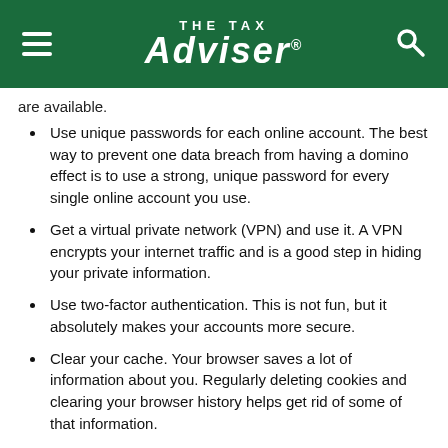THE TAX ADVISER
are available.
Use unique passwords for each online account. The best way to prevent one data breach from having a domino effect is to use a strong, unique password for every single online account you use.
Get a virtual private network (VPN) and use it. A VPN encrypts your internet traffic and is a good step in hiding your private information.
Use two-factor authentication. This is not fun, but it absolutely makes your accounts more secure.
Clear your cache. Your browser saves a lot of information about you. Regularly deleting cookies and clearing your browser history helps get rid of some of that information.
Don't fall prey to clickbait. Phishing emails can look very convincing. Make sure to confirm the source prior to clicking